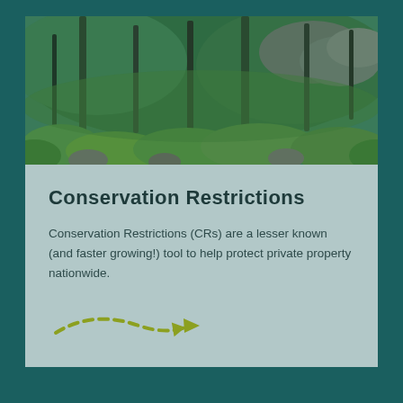[Figure (photo): Forest scene with trees, rocks, and dense green ferns/undergrowth viewed from below canopy]
Conservation Restrictions
Conservation Restrictions (CRs) are a lesser known (and faster growing!) tool to help protect private property nationwide.
[Figure (other): Dashed curved arrow pointing right, in olive/yellow-green color]